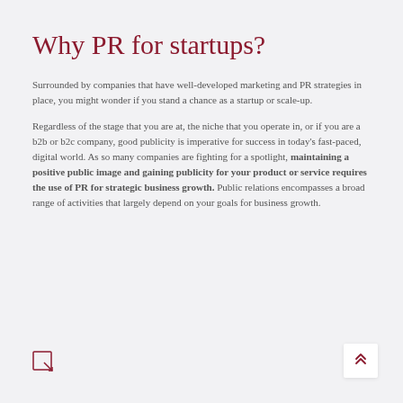Why PR for startups?
Surrounded by companies that have well-developed marketing and PR strategies in place, you might wonder if you stand a chance as a startup or scale-up.
Regardless of the stage that you are at, the niche that you operate in, or if you are a b2b or b2c company, good publicity is imperative for success in today's fast-paced, digital world. As so many companies are fighting for a spotlight, maintaining a positive public image and gaining publicity for your product or service requires the use of PR for strategic business growth. Public relations encompasses a broad range of activities that largely depend on your goals for business growth.